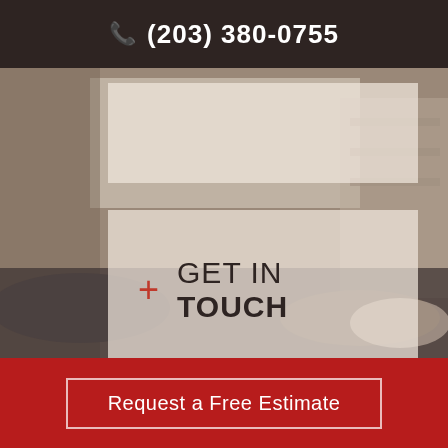(203) 380-0755
[Figure (photo): Blurred interior living room background with couch and soft furnishings]
+ GET IN TOUCH
Request a Free Estimate